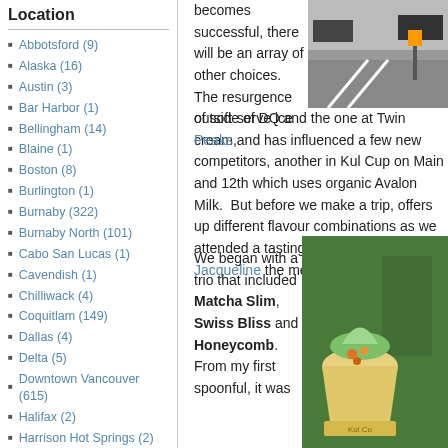Location
Abbotsford (9)
Alaska (16)
Austin (3)
Bar Harbor (1)
Bellingham (14)
Blaine (1)
Boston (8)
Burlington (1)
Burnaby (322)
Burnaby North (101)
Cabo San Lucas (1)
Cavendish (1)
Chilliwack (4)
Coquitlam (149)
Dallas (4)
Delta (5)
Downtown Vancouver (615)
Halifax (2)
Harrison Hot Springs (2)
Hawaii (26)
[Figure (photo): Street scene with cars and road markings]
becomes successful, there will be an array of other choices. The resurgence of soft-serve ice cream, outside of DQ and the one at Twin Peaks and has influenced a few new competitors, another in Kul Cup on Main and 12th which uses organic Avalon Milk. But before we make a trip, offers up different flavour combinations as we attended a tasting organized by Jacqueline on the menu.
[Figure (photo): Ice cream cup with green and orange toppings at Kul Cup]
We began with a trio that included Matcha Slim, Swiss Bliss and Honeycomb. From my first spoonful, it was